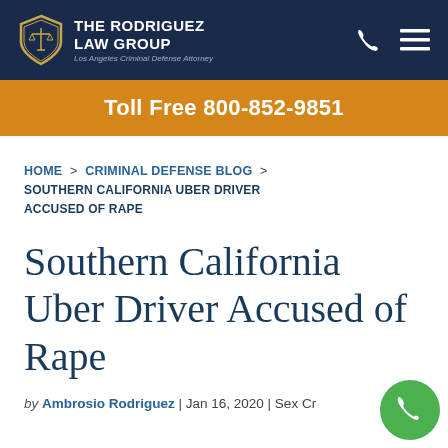THE RODRIGUEZ LAW GROUP — Los Angeles Criminal Defense Attorney
Toll Free 800-852-9851
HOME > CRIMINAL DEFENSE BLOG > SOUTHERN CALIFORNIA UBER DRIVER ACCUSED OF RAPE
Southern California Uber Driver Accused of Rape
by Ambrosio Rodriguez | Jan 16, 2020 | Sex Cr…